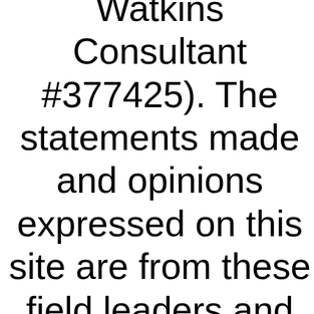(... Watkins Consultant #377425). The statements made and opinions expressed on this site are from these field leaders and have not been